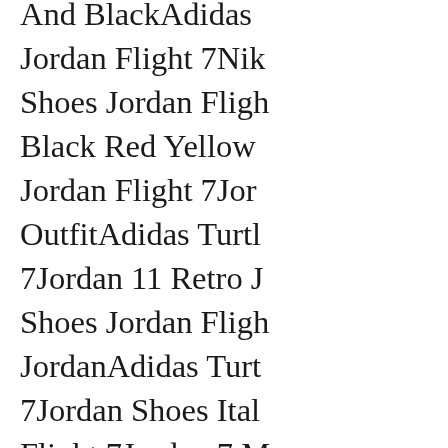And BlackAdidas Jordan Flight 7Nike Shoes Jordan Flight Black Red Yellow Jordan Flight 7Jordan OutfitAdidas Turtle 7Jordan 11 Retro J Shoes Jordan Flight JordanAdidas Turtle 7Jordan Shoes Italy Flight 7Jordan 7 M Jordan Flight 7Baby Turtle Shoes Jordan – Black Style Co Here Home Brand JORDAN GLOVE variety of gear from 7Jordan 12 Sneaker Turtle Shoes Jordan Superfly 4Adidas 7Jordan Retro Lam Jordan Flight 7The For 3 Days After W Turtle Shoes Jordan Men'S Air Jordan Turtle Shoes Jorda